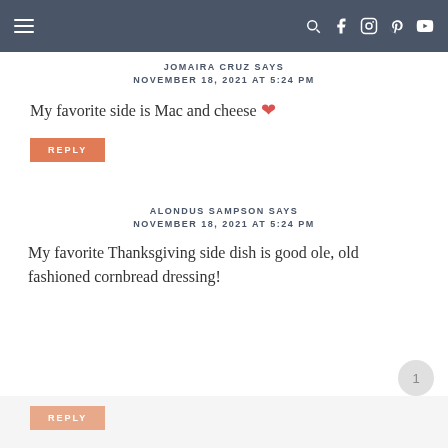Navigation bar with hamburger menu and social icons
JOMAIRA CRUZ SAYS
NOVEMBER 18, 2021 AT 5:24 PM
My favorite side is Mac and cheese ❤
REPLY
ALONDUS SAMPSON SAYS
NOVEMBER 18, 2021 AT 5:24 PM
My favorite Thanksgiving side dish is good ole, old fashioned cornbread dressing!
REPLY